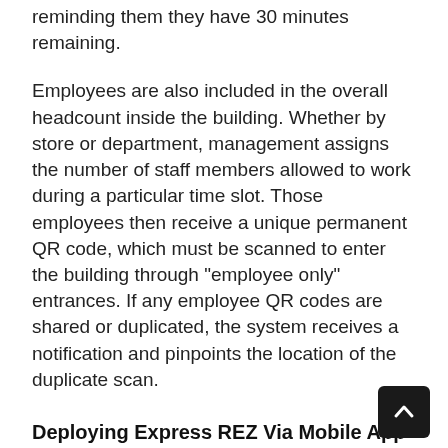reminding them they have 30 minutes remaining.
Employees are also included in the overall headcount inside the building. Whether by store or department, management assigns the number of staff members allowed to work during a particular time slot. Those employees then receive a unique permanent QR code, which must be scanned to enter the building through "employee only" entrances. If any employee QR codes are shared or duplicated, the system receives a notification and pinpoints the location of the duplicate scan.
Deploying Express REZ Via Mobile App
Express REZ is fully integrable with a business's existing mobile app, or it can be deployed via a new mobile app from our team at Express Image Digital. EID's custom-built apps are part